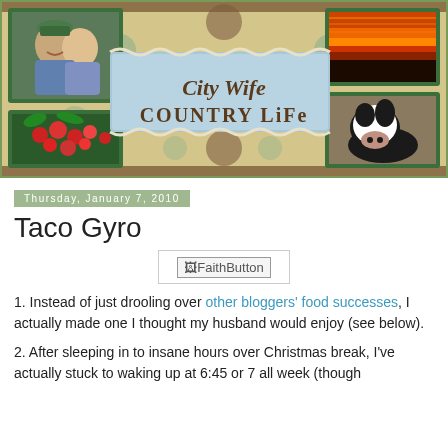[Figure (illustration): Blog header banner for 'City Wife Country Life' blog. Features a decorative collage with polka dot background in cream/tan, blue banner with cursive 'City Wife' and bold 'COUNTRY LiFe' text, four photos: couple smiling, red berries on plant, red/orange sunset sky, black and white cow face.]
Thursday, January 7, 2010
Taco Gyro
[Figure (other): FaithButton image placeholder inside a bordered box]
1. Instead of just drooling over other bloggers' food successes, I actually made one I thought my husband would enjoy (see below).
2. After sleeping in to insane hours over Christmas break, I've actually stuck to waking up at 6:45 or 7 all week (though